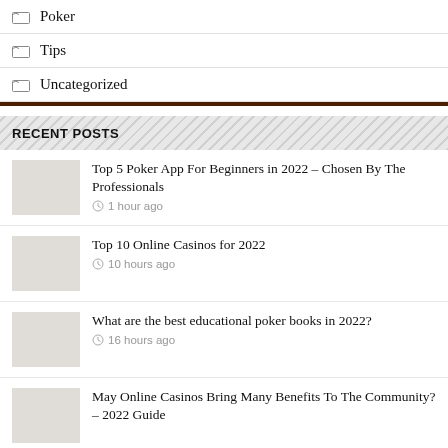Poker
Tips
Uncategorized
RECENT POSTS
Top 5 Poker App For Beginners in 2022 – Chosen By The Professionals
1 hour ago
Top 10 Online Casinos for 2022
10 hours ago
What are the best educational poker books in 2022?
16 hours ago
May Online Casinos Bring Many Benefits To The Community? – 2022 Guide